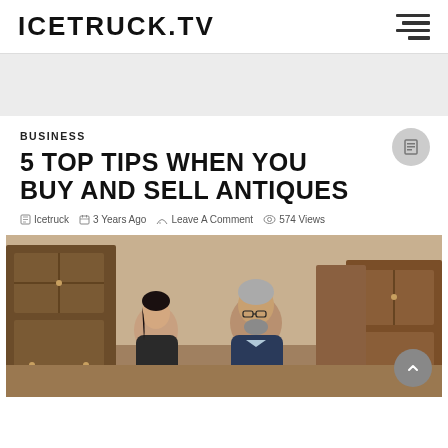ICETRUCK.TV
[Figure (screenshot): Grey advertisement/banner placeholder area]
BUSINESS
5 TOP TIPS WHEN YOU BUY AND SELL ANTIQUES
Icetruck  3 Years Ago  Leave A Comment  574 Views
[Figure (photo): Two people examining antiques in a shop: a woman with dark hair and a grey-haired man with glasses wearing a blue blazer, with wooden furniture cabinets in background]